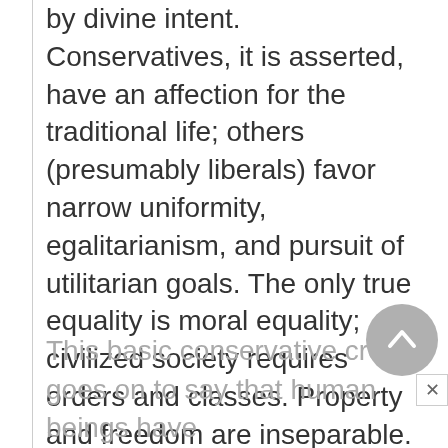by divine intent. Conservatives, it is asserted, have an affection for the traditional life; others (presumably liberals) favor narrow uniformity, egalitarianism, and pursuit of utilitarian goals. The only true equality is moral equality; civilized society requires orders and classes. Property and freedom are inseparable. If property is separated from private possession, liberty disappears.
This basic conservative creed goes on to say that human beings have